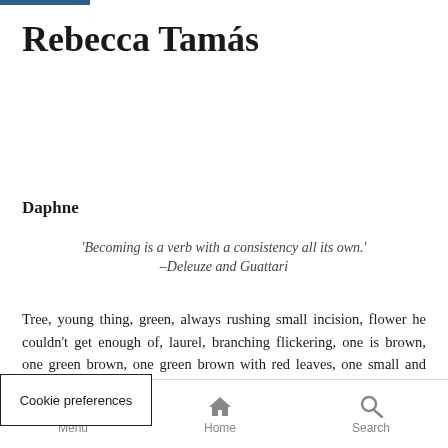Rebecca Tamás
Daphne
'Becoming is a verb with a consistency all its own.' –Deleuze and Guattari
Tree, young thing, green, always rushing small incision, flower he couldn't get enough of, laurel, branching flickering, one is brown, one green brown, one green brown with red leaves, one small and ash shaking, this might be ht be the flowing or the complicity, this might be her f from the world, or again the window is open she is
Cookie preferences